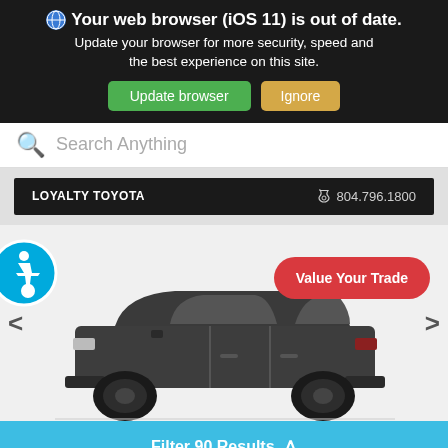Your web browser (iOS 11) is out of date. Update your browser for more security, speed and the best experience on this site.
Update browser
Ignore
Search Anything
LOYALTY TOYOTA   804.796.1800
[Figure (screenshot): Toyota 4Runner SUV side profile view in dark gray, shown in a vehicle listing carousel with left and right navigation arrows and a red 'Value Your Trade' button overlay. An accessibility badge (blue circle with wheelchair icon) appears on the left side.]
Filter 90 Results ∧